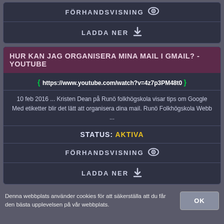FÖRHANDSVISNING
LADDA NER
HUR KAN JAG ORGANISERA MINA MAIL I GMAIL? - YOUTUBE
https://www.youtube.com/watch?v=4z7p3PM48t0
10 feb 2016 ... Kristen Dean på Runö folkhögskola visar tips om Google Med etiketter blir det lätt att organisera dina mail. Runö Folkhögskola Webb ...
STATUS: AKTIVA
FÖRHANDSVISNING
LADDA NER
Denna webbplats använder cookies för att säkerställa att du får den bästa upplevelsen på vår webbplats.